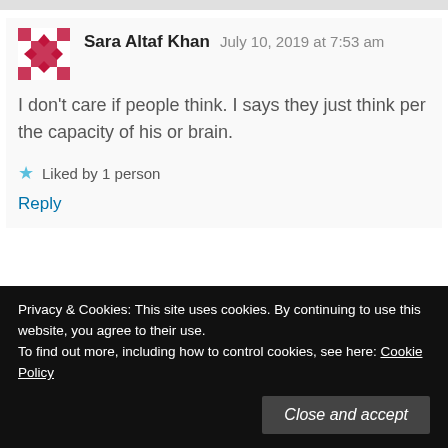[Figure (illustration): Top gray bar representing truncated page content above]
Sara Altaf Khan  July 10, 2019 at 7:53 am
I don't care if people think. I says they just think per the capacity of his or brain.
Liked by 1 person
Reply
Privacy & Cookies: This site uses cookies. By continuing to use this website, you agree to their use.
To find out more, including how to control cookies, see here: Cookie Policy
Close and accept